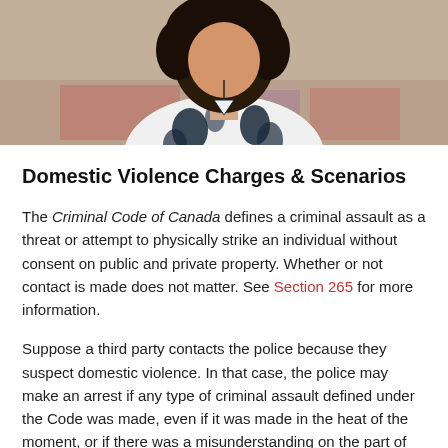[Figure (photo): Woman with curly hair wearing a black and white floral print top, photographed from above/front, cropped at torso level with a patterned rug background]
Domestic Violence Charges & Scenarios
The Criminal Code of Canada defines a criminal assault as a threat or attempt to physically strike an individual without consent on public and private property. Whether or not contact is made does not matter. See Section 265 for more information.
Suppose a third party contacts the police because they suspect domestic violence. In that case, the police may make an arrest if any type of criminal assault defined under the Code was made, even if it was made in the heat of the moment, or if there was a misunderstanding on the part of the third party.
In a situation like this, one in which the alleged victim does not want the alleged abuser taken by police,